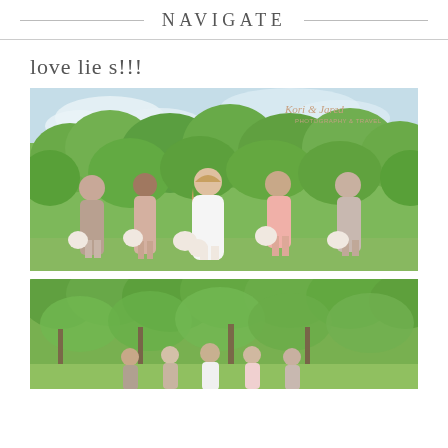NAVIGATE
love lies!!!
[Figure (photo): Wedding party photo: bride in white dress with four bridesmaids in blush/taupe dresses, holding white bouquets, standing outdoors with green trees in background. Watermark reads 'Kori & Jared Photography & Travel'.]
[Figure (photo): Second wedding photo: group of bridesmaids walking outdoors under tree canopy with green foliage.]